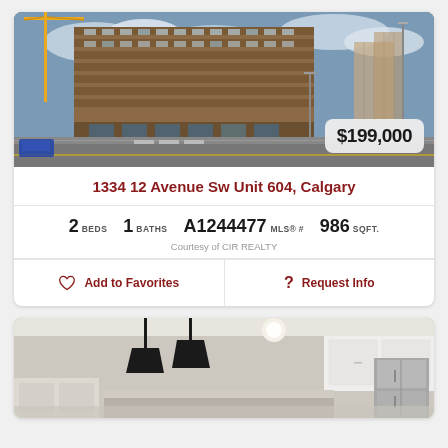[Figure (photo): Street-level photo of a mid-rise residential building at 1334 12 Avenue SW, Calgary, with construction crane visible and urban street scene]
$199,000
1334 12 Avenue Sw Unit 604, Calgary
2 BEDS  1 BATHS  A1244477 MLS® #  986 SQFT.
Courtesy of CIR REALTY
Add to Favorites
Request Info
[Figure (photo): Interior photo of a modern kitchen with black pendant lights, white cabinets, and stainless steel appliances]